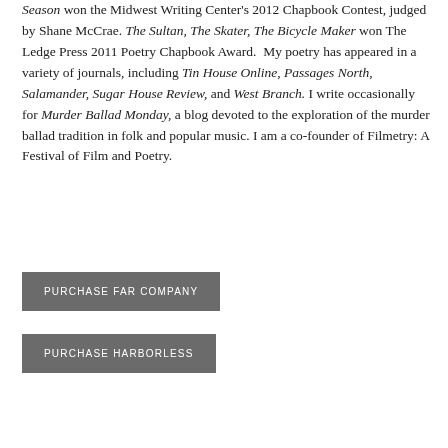Season won the Midwest Writing Center's 2012 Chapbook Contest, judged by Shane McCrae. The Sultan, The Skater, The Bicycle Maker won The Ledge Press 2011 Poetry Chapbook Award. My poetry has appeared in a variety of journals, including Tin House Online, Passages North, Salamander, Sugar House Review, and West Branch. I write occasionally for Murder Ballad Monday, a blog devoted to the exploration of the murder ballad tradition in folk and popular music. I am a co-founder of Filmetry: A Festival of Film and Poetry.
PURCHASE FAR COMPANY
PURCHASE HARBORLESS